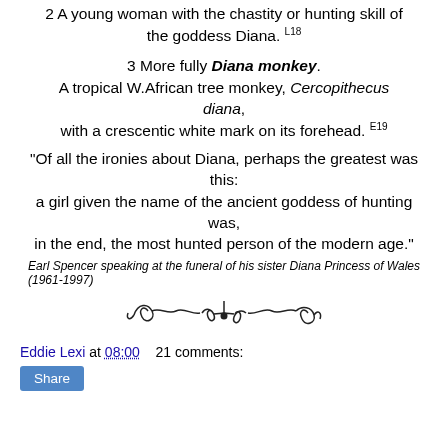2 A young woman with the chastity or hunting skill of the goddess Diana. L18
3 More fully Diana monkey. A tropical W.African tree monkey, Cercopithecus diana, with a crescentic white mark on its forehead. E19
"Of all the ironies about Diana, perhaps the greatest was this: a girl given the name of the ancient goddess of hunting was, in the end, the most hunted person of the modern age."
Earl Spencer speaking at the funeral of his sister Diana Princess of Wales (1961-1997)
[Figure (illustration): Decorative ornamental divider with scrollwork flourishes]
Eddie Lexi at 08:00   21 comments:
Share